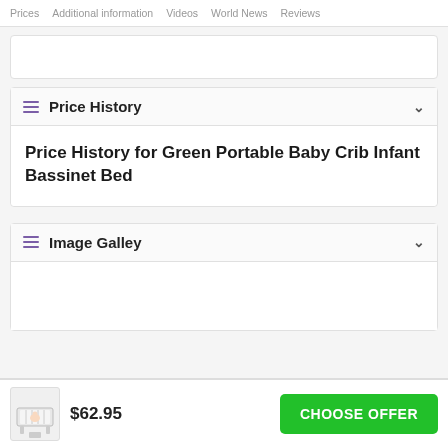Prices | Additional information | Videos | World News | Reviews
Price History
Price History for Green Portable Baby Crib Infant Bassinet Bed
Image Galley
$62.95
CHOOSE OFFER